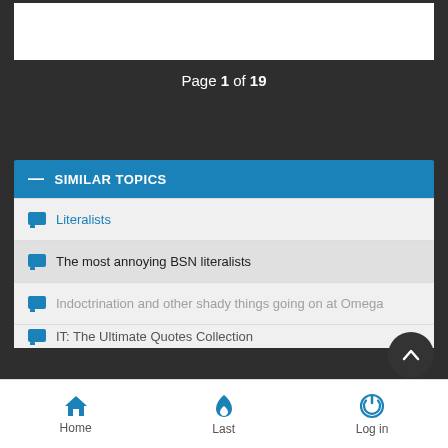Page 1 of 19
SIMILAR TOPICS
Literalists
The most annoying BSN literalists
Indoctrination and other shady things going on at Omega
IT: The Ultimate Quotes Collection
Home  Last  Log in